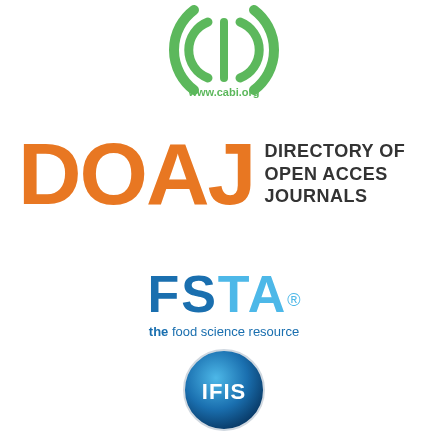[Figure (logo): CABI logo: green circular icon with www.cabi.org text below]
[Figure (logo): DOAJ logo: large orange letters DOAJ with black text DIRECTORY OF OPEN ACCES JOURNALS]
[Figure (logo): FSTA logo: dark blue bold FSTA with registered trademark, tagline 'the food science resource' in blue]
[Figure (logo): IFIS logo: blue gradient circular badge with IFIS text, tagline 'core food' below]